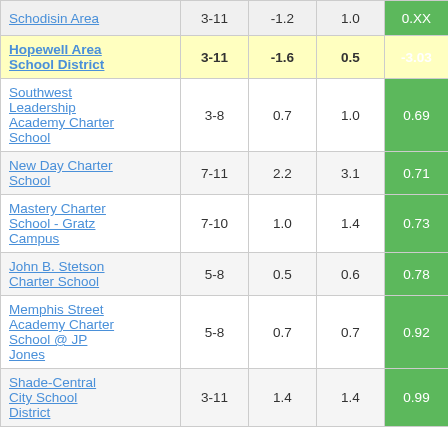| School/District | Grades | Col3 | Col4 | Score |
| --- | --- | --- | --- | --- |
| [partial top row] | 3-11 | -1.2 | 1.0 | 0.XX |
| Hopewell Area School District | 3-11 | -1.6 | 0.5 | -3.03 |
| Southwest Leadership Academy Charter School | 3-8 | 0.7 | 1.0 | 0.69 |
| New Day Charter School | 7-11 | 2.2 | 3.1 | 0.71 |
| Mastery Charter School - Gratz Campus | 7-10 | 1.0 | 1.4 | 0.73 |
| John B. Stetson Charter School | 5-8 | 0.5 | 0.6 | 0.78 |
| Memphis Street Academy Charter School @ JP Jones | 5-8 | 0.7 | 0.7 | 0.92 |
| Shade-Central City School District | 3-11 | 1.4 | 1.4 | 0.99 |